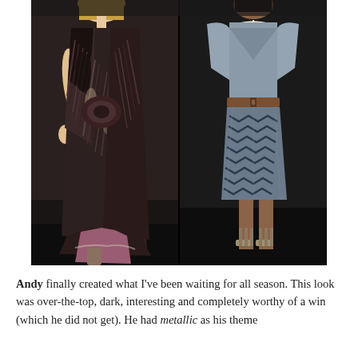[Figure (photo): Two fashion runway models side by side. Left model wears a floor-length dark patterned/feathered maxi dress over a pink/mauve underlayer. Right model wears a gray-blue short dress with zigzag patterned skirt, a brown belt, pearl necklaces, and high sandals.]
Andy finally created what I've been waiting for all season. This look was over-the-top, dark, interesting and completely worthy of a win (which he did not get). He had metallic as his theme